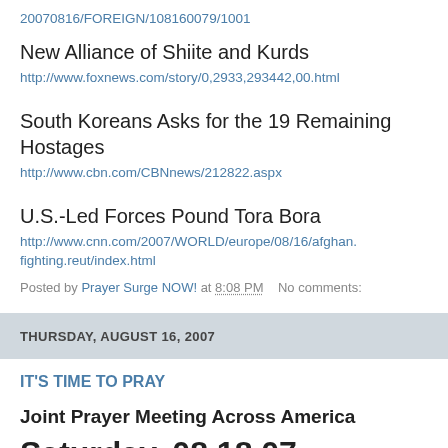20070816/FOREIGN/108160079/1001
New Alliance of Shiite and Kurds
http://www.foxnews.com/story/0,2933,293442,00.html
South Koreans Asks for the 19 Remaining Hostages
http://www.cbn.com/CBNnews/212822.aspx
U.S.-Led Forces Pound Tora Bora
http://www.cnn.com/2007/WORLD/europe/08/16/afghan.fighting.reut/index.html
Posted by Prayer Surge NOW! at 8:08 PM   No comments:
THURSDAY, AUGUST 16, 2007
IT'S TIME TO PRAY
Joint Prayer Meeting Across America
Saturday, 08.18.07
5-7am Pacific